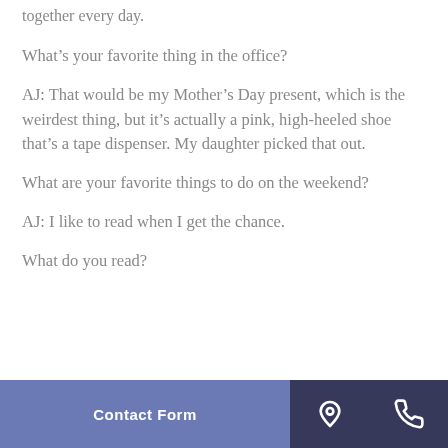together every day.
What’s your favorite thing in the office?
AJ: That would be my Mother’s Day present, which is the weirdest thing, but it’s actually a pink, high-heeled shoe that’s a tape dispenser. My daughter picked that out.
What are your favorite things to do on the weekend?
AJ: I like to read when I get the chance.
What do you read?
Contact Form | location icon | phone icon